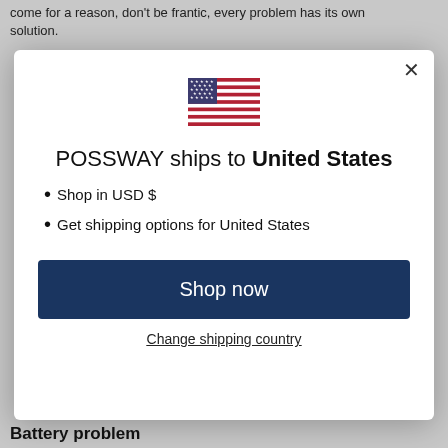come for a reason, don't be frantic, every problem has its own solution.
[Figure (screenshot): Modal dialog on POSSWAY website showing a US flag, text 'POSSWAY ships to United States', bullet points 'Shop in USD $' and 'Get shipping options for United States', a dark blue 'Shop now' button, and a 'Change shipping country' link.]
Battery problem